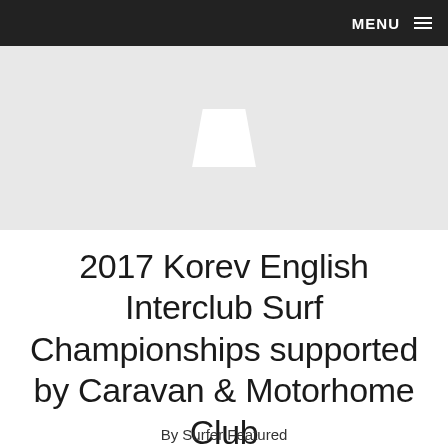MENU
[Figure (other): Light gray hero banner area with a white trapezoid/lamp shade placeholder icon centered in it]
2017 Korev English Interclub Surf Championships supported by Caravan & Motorhome Club
By Surfer Featured